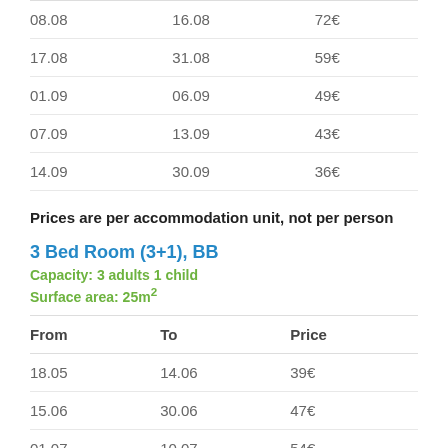| From | To | Price |
| --- | --- | --- |
| 08.08 | 16.08 | 72€ |
| 17.08 | 31.08 | 59€ |
| 01.09 | 06.09 | 49€ |
| 07.09 | 13.09 | 43€ |
| 14.09 | 30.09 | 36€ |
Prices are per accommodation unit, not per person
3 Bed Room (3+1), BB
Capacity: 3 adults 1 child
Surface area: 25m²
| From | To | Price |
| --- | --- | --- |
| 18.05 | 14.06 | 39€ |
| 15.06 | 30.06 | 47€ |
| 01.07 | 10.07 | 54€ |
| 11.07 | 24.07 | 60€ |